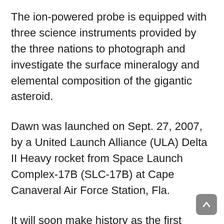The ion-powered probe is equipped with three science instruments provided by the three nations to photograph and investigate the surface mineralogy and elemental composition of the gigantic asteroid.
Dawn was launched on Sept. 27, 2007, by a United Launch Alliance (ULA) Delta II Heavy rocket from Space Launch Complex-17B (SLC-17B) at Cape Canaveral Air Force Station, Fla.
It will soon make history as the first spacecraft to orbit two celestial bodies beyond Earth.
After a 3.5-year interplanetary journey, Dawn arrived at the asteroid Vesta, the first of its two orbital targets. Vesta is the second most massive object in